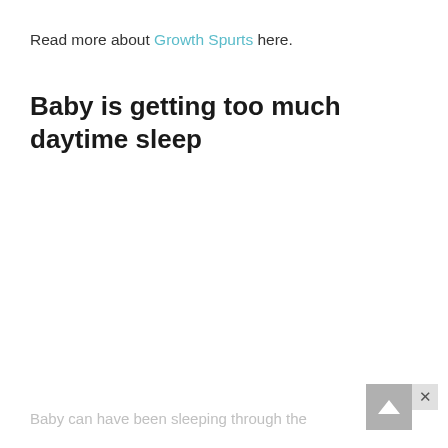Read more about Growth Spurts here.
Baby is getting too much daytime sleep
Baby can have been sleeping through the